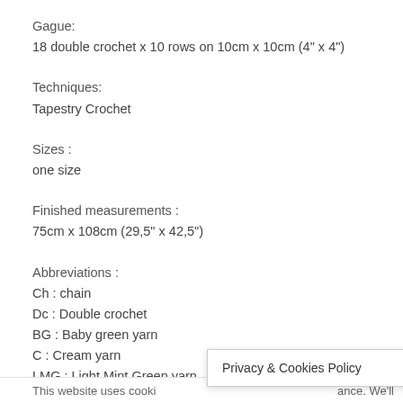Gague:
18 double crochet x 10 rows on 10cm x 10cm (4" x 4")
Techniques:
Tapestry Crochet
Sizes :
one size
Finished measurements :
75cm x 108cm (29,5" x 42,5")
Abbreviations :
Ch : chain
Dc : Double crochet
BG : Baby green yarn
C : Cream yarn
LMG : Light Mint Green yarn
Privacy & Cookies Policy
This website uses cooki   ance. We'll